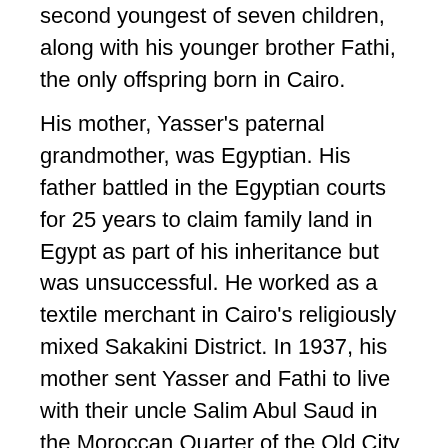second youngest of seven children, along with his younger brother Fathi, the only offspring born in Cairo.
His mother, Yasser's paternal grandmother, was Egyptian. His father battled in the Egyptian courts for 25 years to claim family land in Egypt as part of his inheritance but was unsuccessful. He worked as a textile merchant in Cairo's religiously mixed Sakakini District. In 1937, his mother sent Yasser and Fathi to live with their uncle Salim Abul Saud in the Moroccan Quarter of the Old City of Old City. They lived there for four years with their older sister, Inam, until their father's death in 1952, when Arafat moved back to Gaza City to be with his mother. He died of a kidney ailment when he was four years of age, when his mother was just four years old. He is survived by his brother, Fathi and his sister Inam. He also had a son, Yassar, who was born in 1953. He fought alongside the Muslim Brotherhood during the 1948 Arab–Israeli War. He served as president of the General Union of Palestinian Students from 1952 to 1956. In the later years of the 1950...